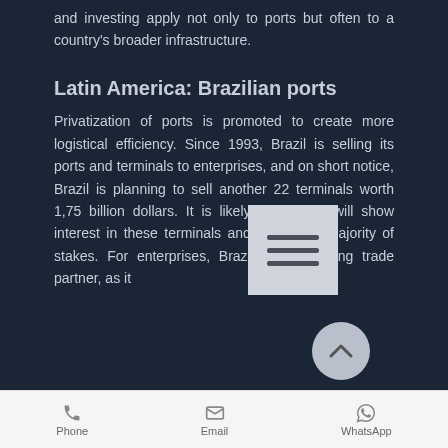and investing apply not only to ports but often to a country's broader infrastructure.
Latin America: Brazilian ports
Privatization of ports is promoted to create more logistical efficiency. Since 1993, Brazil is selling its ports and terminals to enterprises, and on short notice, Brazil is planning to sell another 22 terminals worth 1,75 billion dollars. It is likely that China will show interest in these terminals and might buy majority of stakes. For enterprises, Brazil is an exciting trade partner, as it
Phone  Email  WhatsApp